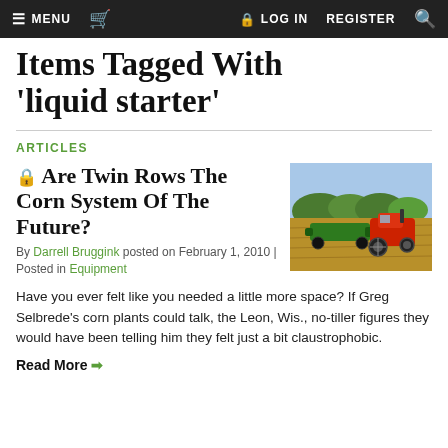MENU  [cart]  LOG IN  REGISTER  [search]
Items Tagged With 'liquid starter'
ARTICLES
🔒 Are Twin Rows The Corn System Of The Future?
By Darrell Bruggink posted on February 1, 2010 | Posted in Equipment
[Figure (photo): A red tractor pulling a green planting implement across a field, with rolling green hills in the background.]
Have you ever felt like you needed a little more space? If Greg Selbrede's corn plants could talk, the Leon, Wis., no-tiller figures they would have been telling him they felt just a bit claustrophobic.
Read More →